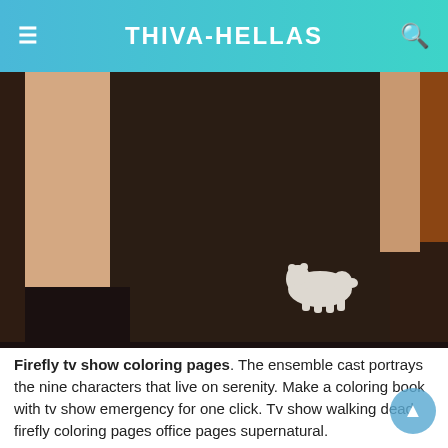THIVA-HELLAS
[Figure (photo): Photo of a person wearing a dark brown t-shirt with a small white bear/animal logo on the lower right side of the shirt. Background shows a door frame and orange wall.]
Firefly tv show coloring pages. The ensemble cast portrays the nine characters that live on serenity. Make a coloring book with tv show emergency for one click. Tv show walking dead firefly coloring pages office pages supernatural.
Firefly coloring pages are a fun way for kids of all ages to develop creativity, focus, motor skills and color recognition. In the weeks since its weak opening episodes, the series has run off a string of seven strong shows that would be the